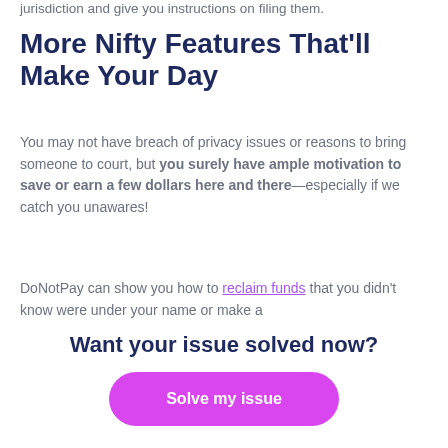jurisdiction and give you instructions on filing them.
More Nifty Features That'll Make Your Day
You may not have breach of privacy issues or reasons to bring someone to court, but you surely have ample motivation to save or earn a few dollars here and there—especially if we catch you unawares!
DoNotPay can show you how to reclaim funds that you didn't know were under your name or make a
Want your issue solved now?
Solve my issue